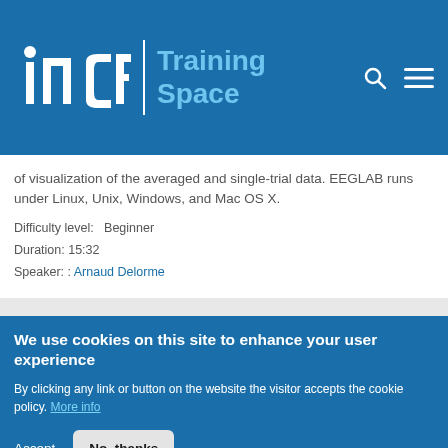INCF Training Space
of visualization of the averaged and single-trial data. EEGLAB runs under Linux, Unix, Windows, and Mac OS X.
Difficulty level:   Beginner
Duration: 15:32
Speaker: : Arnaud Delorme
Introduction to EEGLAB part 2: The origin of the EEG signal
We use cookies on this site to enhance your user experience
By clicking any link or button on the website the visitor accepts the cookie policy. More info
Accept   No, thanks